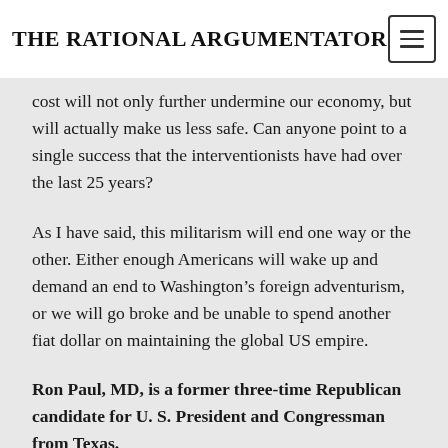THE RATIONAL ARGUMENTATOR
cost will not only further undermine our economy, but will actually make us less safe. Can anyone point to a single success that the interventionists have had over the last 25 years?
As I have said, this militarism will end one way or the other. Either enough Americans will wake up and demand an end to Washington’s foreign adventurism, or we will go broke and be unable to spend another fiat dollar on maintaining the global US empire.
Ron Paul, MD, is a former three-time Republican candidate for U. S. President and Congressman from Texas.